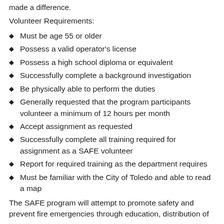made a difference.
Volunteer Requirements:
Must be age 55 or older
Possess a valid operator's license
Possess a high school diploma or equivalent
Successfully complete a background investigation
Be physically able to perform the duties
Generally requested that the program participants volunteer a minimum of 12 hours per month
Accept assignment as requested
Successfully complete all training required for assignment as a SAFE volunteer
Report for required training as the department requires
Must be familiar with the City of Toledo and able to read a map
The SAFE program will attempt to promote safety and prevent fire emergencies through education, distribution of